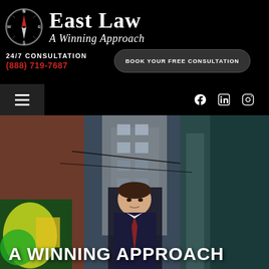[Figure (logo): East Law compass logo with text 'East Law - A Winning Approach' on black background]
24/7 CONSULTATION
(888) 719-7687
BOOK YOUR FREE CONSULTATION
[Figure (other): Hamburger menu icon and social media icons (Facebook, LinkedIn, Instagram) on black navigation bar]
[Figure (photo): A man in a dark suit standing in an urban alley with graffiti on the walls and brick buildings in the background]
A WINNING APPROACH